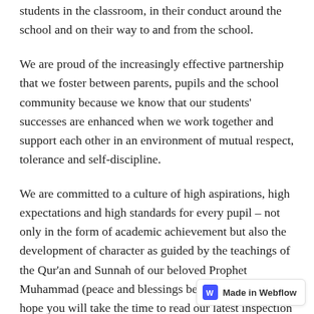students in the classroom, in their conduct around the school and on their way to and from the school.
We are proud of the increasingly effective partnership that we foster between parents, pupils and the school community because we know that our students' successes are enhanced when we work together and support each other in an environment of mutual respect, tolerance and self-discipline.
We are committed to a culture of high aspirations, high expectations and high standards for every pupil – not only in the form of academic achievement but also the development of character as guided by the teachings of the Qur'an and Sunnah of our beloved Prophet Muhammad (peace and blessings be upon him).We do hope you will take the time to read our latest inspection report. It is available via a link on our school website.